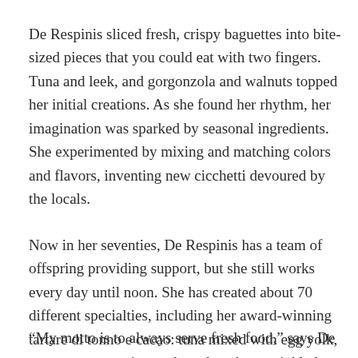De Respinis sliced fresh, crispy baguettes into bite-sized pieces that you could eat with two fingers. Tuna and leek, and gorgonzola and walnuts topped her initial creations. As she found her rhythm, her imagination was sparked by seasonal ingredients. She experimented by mixing and matching colors and flavors, inventing new cicchetti devoured by the locals.
Now in her seventies, De Respinis has a team of offspring providing support, but she still works every day until noon. She has created about 70 different specialties, including her award-winning tartare di tonno e cacao: tuna mixed with egg yolk, capers, mayonnaise, and parsley, then sprinkled with bitter cocoa.
“My motto is to always serve fresh food,” says De